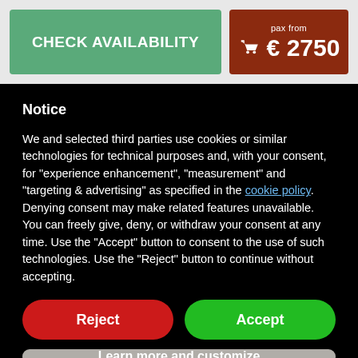[Figure (screenshot): Green CHECK AVAILABILITY button on left, brown basket/price button showing 'pax from € 2750' on right]
Notice
We and selected third parties use cookies or similar technologies for technical purposes and, with your consent, for "experience enhancement", "measurement" and "targeting & advertising" as specified in the cookie policy. Denying consent may make related features unavailable.
You can freely give, deny, or withdraw your consent at any time. Use the "Accept" button to consent to the use of such technologies. Use the "Reject" button to continue without accepting.
Reject
Accept
Learn more and customize